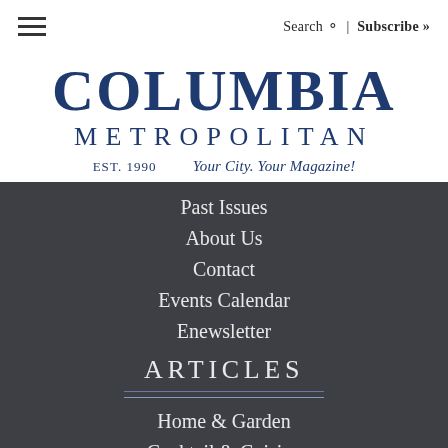Search | Subscribe »
COLUMBIA METROPOLITAN EST. 1990 Your City. Your Magazine!
Past Issues
About Us
Contact
Events Calendar
Enewsletter
ARTICLES
Home & Garden
Cocktail & Cuisine
Palmetto Business
Total Mind & Body